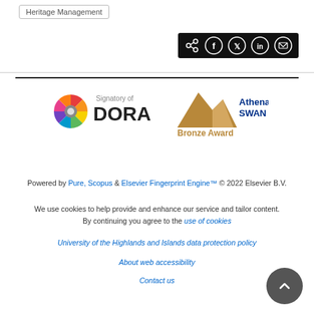Heritage Management
[Figure (infographic): Black share bar with share icon and circular icons for Facebook, Twitter, LinkedIn, and email]
[Figure (logo): Signatory of DORA logo (colorful starburst wheel with DORA text) and Athena SWAN Bronze Award logo]
Powered by Pure, Scopus & Elsevier Fingerprint Engine™ © 2022 Elsevier B.V.
We use cookies to help provide and enhance our service and tailor content. By continuing you agree to the use of cookies
University of the Highlands and Islands data protection policy
About web accessibility
Contact us